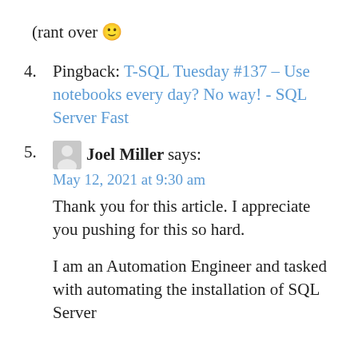(rant over 🙂
4. Pingback: T-SQL Tuesday #137 – Use notebooks every day? No way! - SQL Server Fast
5. Joel Miller says: May 12, 2021 at 9:30 am
Thank you for this article. I appreciate you pushing for this so hard.

I am an Automation Engineer and tasked with automating the installation of SQL Server